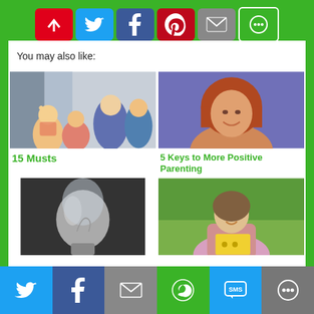[Figure (screenshot): Top social sharing bar with icons: red arrow, Twitter, Facebook, Pinterest, Email, More]
You may also like:
[Figure (photo): Family photo with children and adult on porch steps]
15 Musts
[Figure (photo): Smiling woman with short auburn hair against purple background]
5 Keys to More Positive Parenting
[Figure (photo): Close-up of a light bulb]
[Figure (photo): Woman in pink jacket holding a yellow card outdoors]
[Figure (screenshot): Bottom sharing bar with Twitter, Facebook, Email, WhatsApp, SMS, More icons]